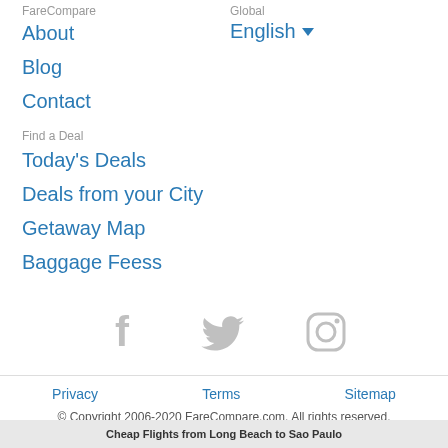FareCompare
Global
About
English ▾
Blog
Contact
Find a Deal
Today's Deals
Deals from your City
Getaway Map
Baggage Feess
[Figure (illustration): Social media icons: Facebook, Twitter, Instagram in gray]
Privacy
Terms
Sitemap
© Copyright 2006-2020 FareCompare.com. All rights reserved.
Cheap Flights from Long Beach to Sao Paulo